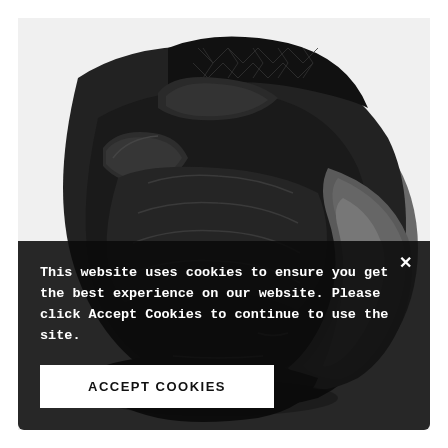[Figure (photo): A luxury black massage chair shown at an angle against a white background, featuring quilted diamond-pattern headrest, layered padded back sections, armrests, and a large rounded gray side panel.]
This website uses cookies to ensure you get the best experience on our website. Please click Accept Cookies to continue to use the site.
ACCEPT COOKIES